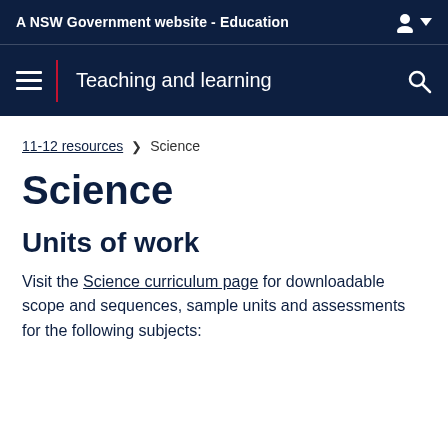A NSW Government website - Education
Teaching and learning
11-12 resources > Science
Science
Units of work
Visit the Science curriculum page for downloadable scope and sequences, sample units and assessments for the following subjects: